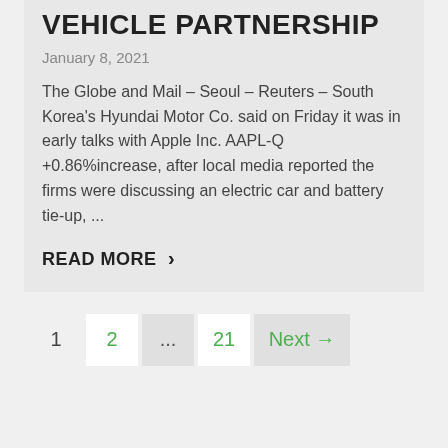VEHICLE PARTNERSHIP
January 8, 2021
The Globe and Mail – Seoul – Reuters – South Korea's Hyundai Motor Co. said on Friday it was in early talks with Apple Inc. AAPL-Q +0.86%increase, after local media reported the firms were discussing an electric car and battery tie-up, ...
READ MORE  ›
1  2  ...  21  Next →